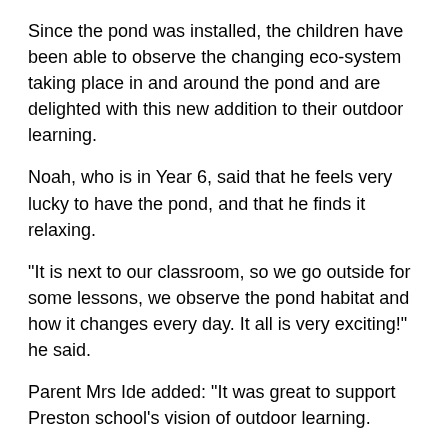Since the pond was installed, the children have been able to observe the changing eco-system taking place in and around the pond and are delighted with this new addition to their outdoor learning.
Noah, who is in Year 6, said that he feels very lucky to have the pond, and that he finds it relaxing.
"It is next to our classroom, so we go outside for some lessons, we observe the pond habitat and how it changes every day. It all is very exciting!" he said.
Parent Mrs Ide added: "It was great to support Preston school's vision of outdoor learning.
"Being a school in the countryside, we felt it was important to encourage the children to understand and interact with nature, and it's great to see that it has had such a positive effect on their wellbeing and learning."